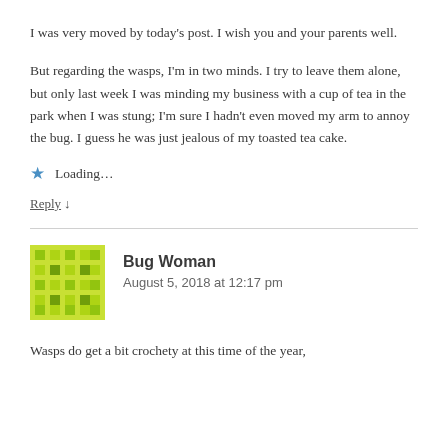I was very moved by today's post. I wish you and your parents well.
But regarding the wasps, I'm in two minds. I try to leave them alone, but only last week I was minding my business with a cup of tea in the park when I was stung; I'm sure I hadn't even moved my arm to annoy the bug. I guess he was just jealous of my toasted tea cake.
Loading...
Reply ↓
Bug Woman
August 5, 2018 at 12:17 pm
Wasps do get a bit crochety at this time of the year,